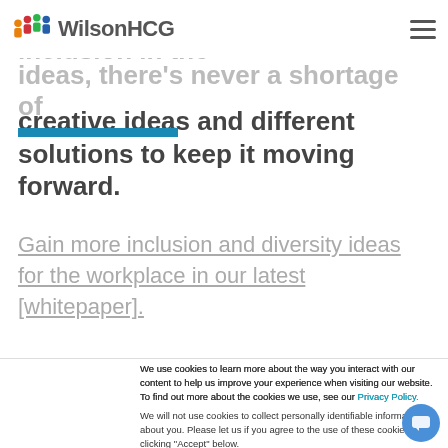WilsonHCG
many benefits of diversity and inclusion in the creative ideas and different solutions to keep it moving forward.
Gain more inclusion and diversity ideas for the workplace in our latest [whitepaper].
We use cookies to learn more about the way you interact with our content to help us improve your experience when visiting our website. To find out more about the cookies we use, see our Privacy Policy.
We will not use cookies to collect personally identifiable information about you. Please let us if you agree to the use of these cookies by clicking "Accept" below.